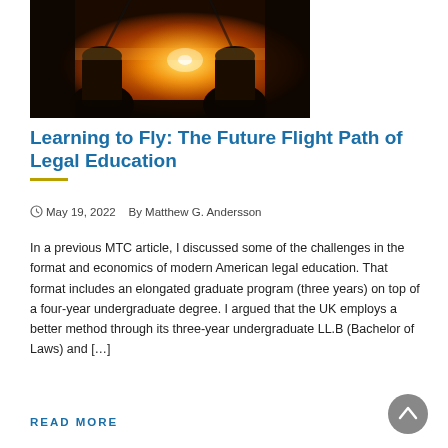[Figure (photo): Cockpit view from inside a small aircraft, pilots visible in silhouette, warm golden sunset light streaming through the windshield.]
Learning to Fly: The Future Flight Path of Legal Education
May 19, 2022   By Matthew G. Andersson
In a previous MTC article, I discussed some of the challenges in the format and economics of modern American legal education. That format includes an elongated graduate program (three years) on top of a four-year undergraduate degree. I argued that the UK employs a better method through its three-year undergraduate LL.B (Bachelor of Laws) and […]
READ MORE